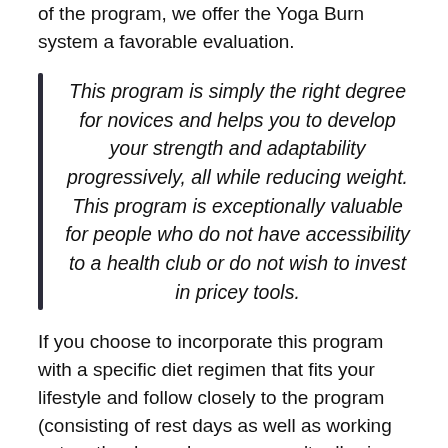of the program, we offer the Yoga Burn system a favorable evaluation.
This program is simply the right degree for novices and helps you to develop your strength and adaptability progressively, all while reducing weight. This program is exceptionally valuable for people who do not have accessibility to a health club or do not wish to invest in pricey tools.
If you choose to incorporate this program with a specific diet regimen that fits your lifestyle and follow closely to the program (consisting of rest days as well as working out on the days where you aren't adhering to the Yoga Burn courses), you will likely be able to attain fantastic outcomes by the